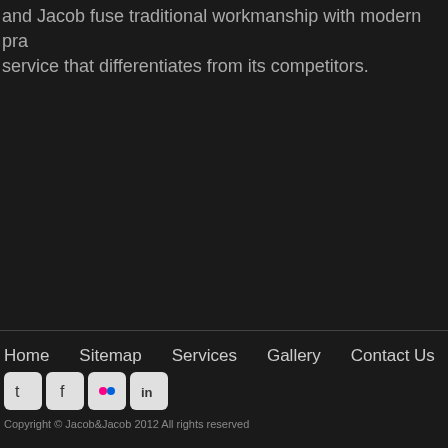and Jacob fuse traditional workmanship with modern pra service that differentiates from its competitors.
Home  Sitemap  Services  Gallery  Contact Us
Copyright © Jacob&Jacob 2012 All rights reserved